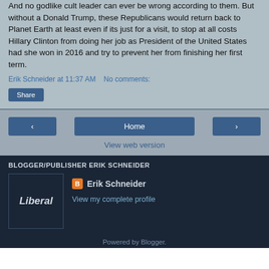And no godlike cult leader can ever be wrong according to them. But without a Donald Trump, these Republicans would return back to Planet Earth at least even if its just for a visit, to stop at all costs Hillary Clinton from doing her job as President of the United States had she won in 2016 and try to prevent her from finishing her first term.
Erik Schneider at 11:37 AM   No comments:
Share
< Home >
View web version
BLOGGER/PUBLISHER ERIK SCHNEIDER
Erik Schneider
View my complete profile
Liberal
Powered by Blogger.